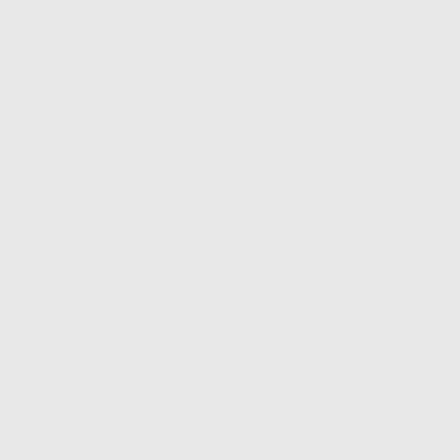want to attach Kashmiri Pandits in so the communities. It could be argued t targeting of the Kashmiri Pandits serv state to paint the movement there, wh Kashmir, as a fundamentalist Islamic criminality. So if there were three fa eye on their land, in those prevailing target those peop,le and benefit from
Where I stand, apart from the general Pandits, is that I do not believe that th as a people culpable for those few cri tried to avoid. The troubles in Kashm word that we in India use for the tens term for it. “Communal tensions” the Kashmiri Pandits were in severe dang doubt they were targeted and killed. A this minority over the space of a few
It must also be at the same time that h to stop that exodus. In the early 1990s Hindu mobilization. And so the Kash